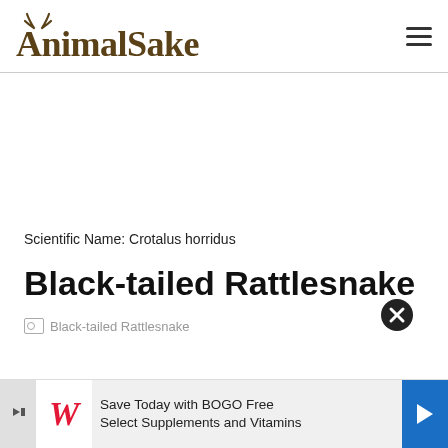AnimalSake
Scientific Name: Crotalus horridus
Black-tailed Rattlesnake
[Figure (photo): Black-tailed Rattlesnake image placeholder (broken image icon with alt text 'Black-tailed Rattlesnake')]
[Figure (infographic): Walgreens advertisement banner: Save Today with BOGO Free Select Supplements and Vitamins]